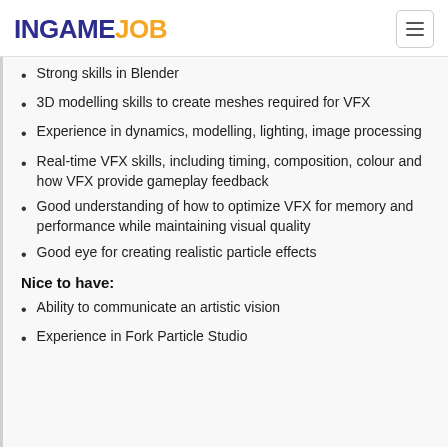INGAMEJOB
Strong skills in Blender
3D modelling skills to create meshes required for VFX
Experience in dynamics, modelling, lighting, image processing
Real-time VFX skills, including timing, composition, colour and how VFX provide gameplay feedback
Good understanding of how to optimize VFX for memory and performance while maintaining visual quality
Good eye for creating realistic particle effects
Nice to have:
Ability to communicate an artistic vision
Experience in Fork Particle Studio